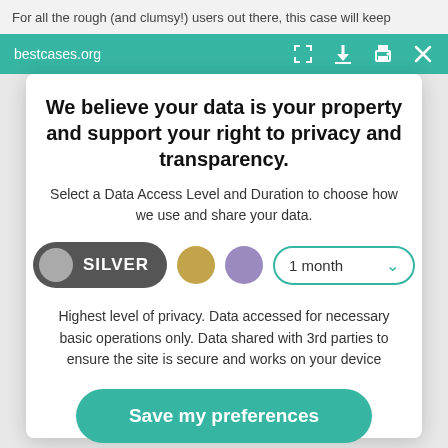For all the rough (and clumsy!) users out there, this case will keep
bestcases.org
We believe your data is your property and support your right to privacy and transparency.
Select a Data Access Level and Duration to choose how we use and share your data.
[Figure (infographic): Data access level selector with SILVER toggle button selected (dark grey pill with grey circle and SILVER label), gold circle option, purple circle option, and a '1 month' dropdown selector with teal border and chevron]
Highest level of privacy. Data accessed for necessary basic operations only. Data shared with 3rd parties to ensure the site is secure and works on your device
Save my preferences
Customize
Privacy policy